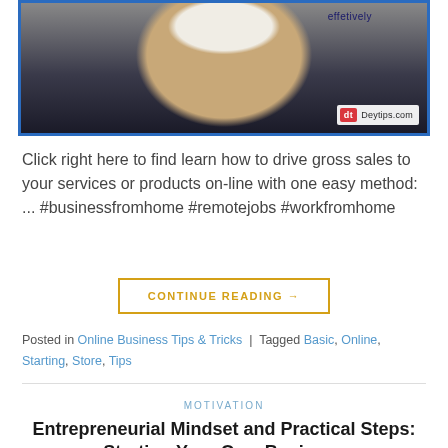[Figure (photo): Photo of a smiling man in a dark shirt with 'effetively' text overlay and Deytips.com logo in bottom right corner, framed with blue border]
Click right here to find learn how to drive gross sales to your services or products on-line with one easy method: ... #businessfromhome #remotejobs #workfromhome
CONTINUE READING →
Posted in Online Business Tips & Tricks | Tagged Basic, Online, Starting, Store, Tips
MOTIVATION
Entrepreneurial Mindset and Practical Steps: Starting Your Own Business